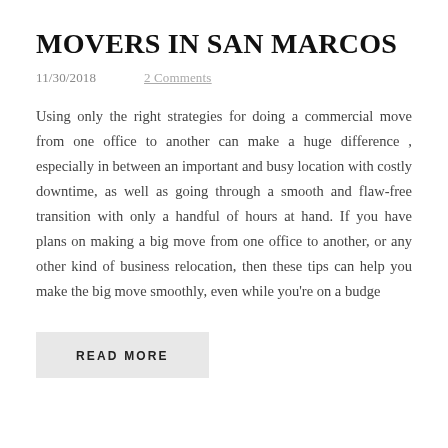MOVERS IN SAN MARCOS
11/30/2018        2 Comments
Using only the right strategies for doing a commercial move from one office to another can make a huge difference , especially in between an important and busy location with costly downtime, as well as going through a smooth and flaw-free transition with only a handful of hours at hand. If you have plans on making a big move from one office to another, or any other kind of business relocation, then these tips can help you make the big move smoothly, even while you're on a budge
READ MORE